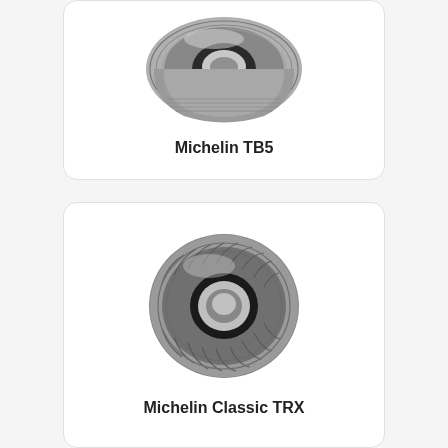[Figure (illustration): Michelin TB5 tire product photo showing a racing/truck tire with smooth tread grooves, viewed from a 3/4 front angle in grayscale]
Michelin TB5
[Figure (illustration): Michelin Classic TRX tire product photo showing a classic car tire with diagonal tread pattern and ribbed sidewall, viewed from a 3/4 front angle in grayscale]
Michelin Classic TRX